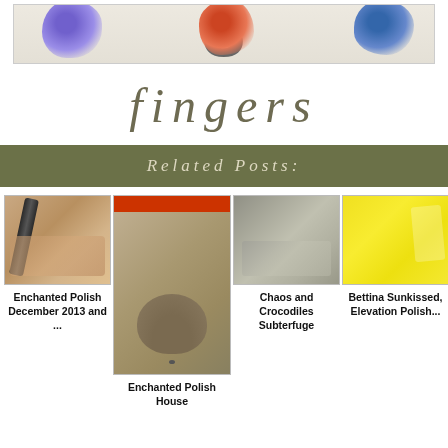[Figure (photo): Partial top image showing colored blobs/nail polish bottles on light background]
fingers
Related Posts:
[Figure (photo): Thumbnail of nails painted in brown/nude polish with nail polish bottle]
Enchanted Polish December 2013 and ...
[Figure (photo): Thumbnail of a gray/taupe shoe or object with red top]
Enchanted Polish House
[Figure (photo): Thumbnail of nails with holographic/silver polish and polish bottle]
Chaos and Crocodiles Subterfuge
[Figure (photo): Thumbnail of nails painted yellow with nail polish bottle]
Bettina Sunkissed, Elevation Polish...